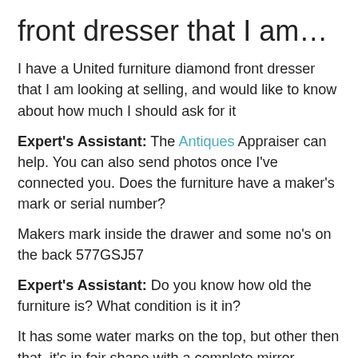front dresser that I am…
I have a United furniture diamond front dresser that I am looking at selling, and would like to know about how much I should ask for it
Expert's Assistant: The Antiques Appraiser can help. You can also send photos once I've connected you. Does the furniture have a maker's mark or serial number?
Makers mark inside the drawer and some no's on the back 577GSJ57
Expert's Assistant: Do you know how old the furniture is? What condition is it in?
It has some water marks on the top, but other then that, it's in fair shape with a complete mirror
Expert's Assistant: Is there anything else important you think the Antiques Appraiser should know?